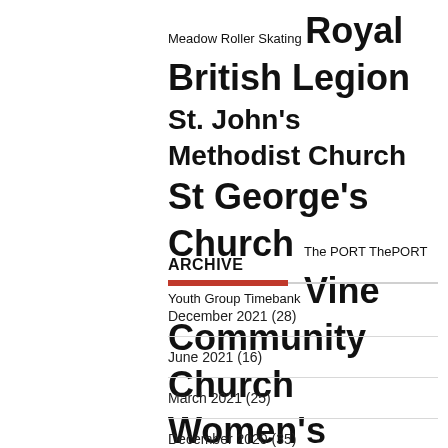Meadow Roller Skating Royal British Legion St. John's Methodist Church St George's Church The PORT ThePORT Youth Group Timebank Vine Community Church Women's Institute WWT Welney YPL
ARCHIVE
December 2021 (28)
June 2021 (16)
March 2021 (25)
December 2020 (35)